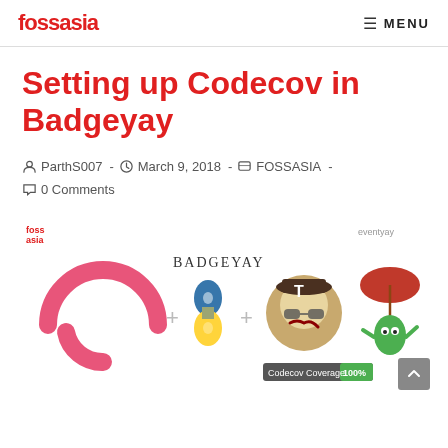fossasia  ☰ MENU
Setting up Codecov in Badgeyay
ParthS007 · March 9, 2018 · FOSSASIA · 0 Comments
[Figure (illustration): Blog post banner image showing FOSSASIA and eventyay logos, Badgeyay wordmark, a Codecov mascot logo, Python logo, Travis CI mascot, and eventyay mascot, with a 'Codecov Coverage 100%' badge in the bottom right.]